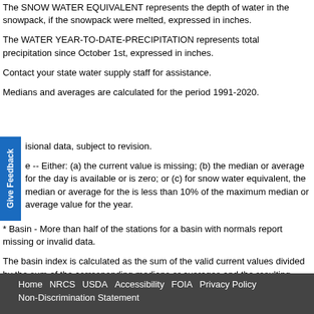The SNOW WATER EQUIVALENT represents the depth of water in the snowpack, if the snowpack were melted, expressed in inches.
The WATER YEAR-TO-DATE-PRECIPITATION represents total precipitation since October 1st, expressed in inches.
Contact your state water supply staff for assistance.
Medians and averages are calculated for the period 1991-2020.
isional data, subject to revision.
e -- Either: (a) the current value is missing; (b) the median or average for the day is available or is zero; or (c) for snow water equivalent, the median or average for the is less than 10% of the maximum median or average value for the year.
* Basin - More than half of the stations for a basin with normals report missing or invalid data.
The basin index is calculated as the sum of the valid current values divided by the sum of the corresponding medians or averages and the resulting fraction multiplied by 100.
Home  NRCS  USDA  Accessibility  FOIA  Privacy Policy  Non-Discrimination Statement